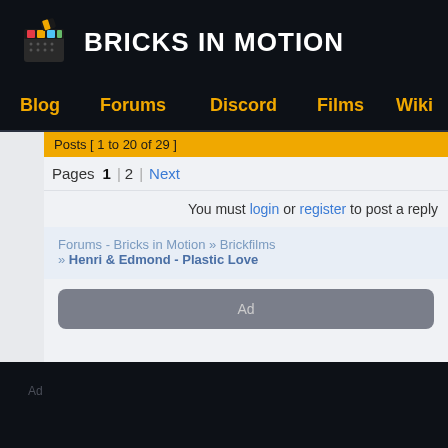BRICKS IN MOTION
Blog  Forums  Discord  Films  Wiki
Posts [ 1 to 20 of 29 ]
Pages 1  2  Next
You must login or register to post a reply
Forums - Bricks in Motion » Brickfilms » Henri & Edmond - Plastic Love
Ad